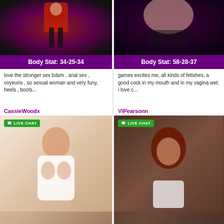[Figure (photo): Woman in red outfit standing in dark room]
Body Stat: 34-25-34
love the stronger sex bdsm , anal sex , voyeuris , so sexual woman and very funy, heels , boots...
[Figure (photo): Woman in black lingerie posing]
Body Stat: 58-28-37
games excites me, all kinds of fetishes, a good cock in my mouth and in my vagina wet. i love c...
CassieWoodx
[Figure (photo): Woman in white lace bra]
ViPearsonn
[Figure (photo): Woman with red hair and tongue out]